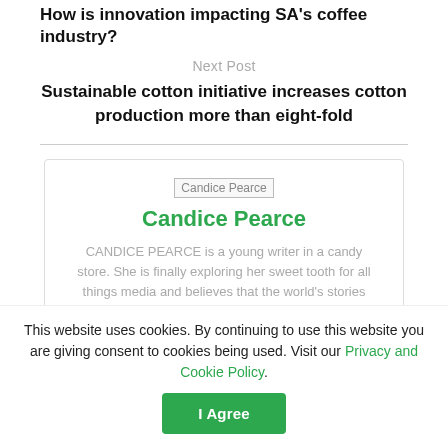How is innovation impacting SA's coffee industry?
Next Post
Sustainable cotton initiative increases cotton production more than eight-fold
[Figure (other): Candice Pearce author avatar image placeholder]
Candice Pearce
CANDICE PEARCE is a young writer in a candy store. She is finally exploring her sweet tooth for all things media and believes that the world's stories are just waiting to be revealed. Holding
This website uses cookies. By continuing to use this website you are giving consent to cookies being used. Visit our Privacy and Cookie Policy.